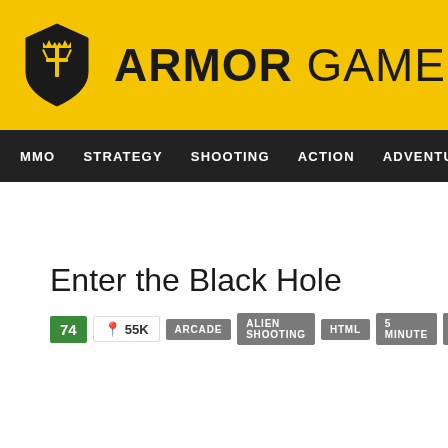[Figure (logo): Armor Games logo: yellow header bar with black shield icon containing a trident/sword symbol and gold crown, beside bold text ARMOR GAMES]
MMO  STRATEGY  SHOOTING  ACTION  ADVENTURE  P
Enter the Black Hole
74  55K  ARCADE  ALIEN SHOOTING  HTML  5 MINUTE  GAME JAMS